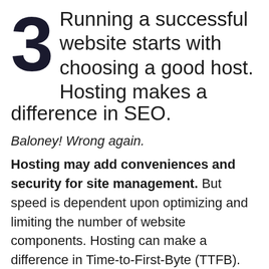3 Running a successful website starts with choosing a good host. Hosting makes a difference in SEO.
Baloney! Wrong again. Hosting may add conveniences and security for site management. But speed is dependent upon optimizing and limiting the number of website components. Hosting can make a difference in Time-to-First-Byte (TTFB). This is the parameter Google uses in it's search algorithm. But we repeat, TTFB only influences SEO by less than 1 percent. Is special, costlier hosting really benefiting